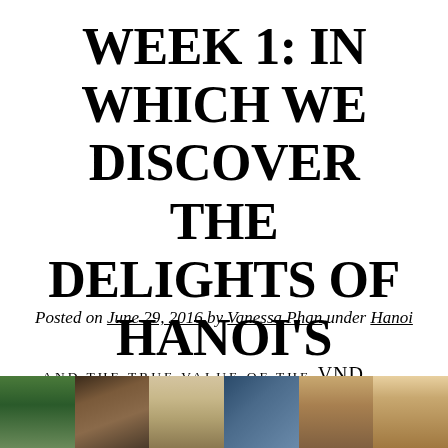WEEK 1: IN WHICH WE DISCOVER THE DELIGHTS OF HANOI'S STREET FOOD…
Posted on June 29, 2016 by Vanessa Phan under Hanoi
… AND THE TRUE VALUE OF THE VND
[Figure (photo): A horizontal strip of food photos showing various Hanoi street food dishes]